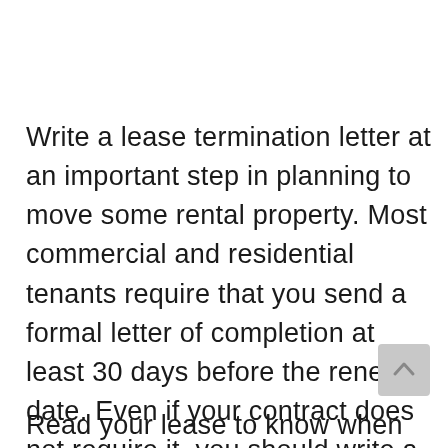Write a lease termination letter at an important step in planning to move some rental property. Most commercial and residential tenants require that you send a formal letter of completion at least 30 days before the renewal date. Even if your contract does not require it, you should write a contract termination that highlights the important aspects of your move.
Read your lease to know when and how you